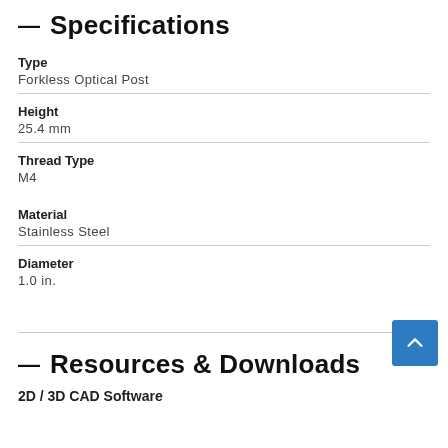— Specifications
Type
Forkless Optical Post
Height
25.4 mm
Thread Type
M4
Material
Stainless Steel
Diameter
1.0 in.
— Resources & Downloads
2D / 3D CAD Software